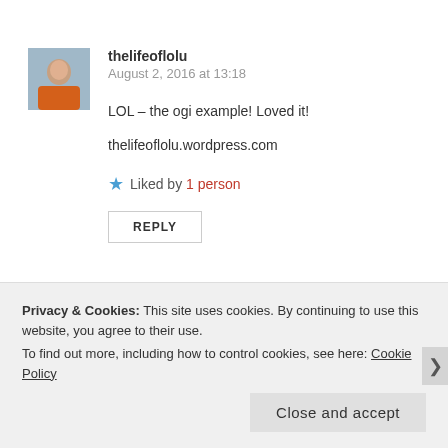[Figure (photo): Avatar photo of thelifeoflolu, a person in orange/sari clothing]
thelifeoflolu
August 2, 2016 at 13:18
LOL – the ogi example! Loved it!
thelifeoflolu.wordpress.com
Liked by 1 person
REPLY
[Figure (photo): Avatar photo of Nedoux]
Nedoux
Privacy & Cookies: This site uses cookies. By continuing to use this website, you agree to their use.
To find out more, including how to control cookies, see here: Cookie Policy
Close and accept